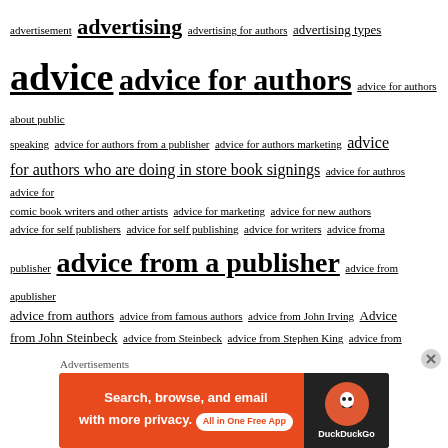advertisement advertising advertising for authors advertising types advice advice for authors advice for authors about public speaking advice for authors from a publisher advice for authors marketing advice for authors who are doing in store book signings advice for authros advice for comic book writers and other artists advice for marketing advice for new authors advice for self publishers advice for self publishing advice for writers advice froma publisher advice from a publisher advice from apublisher advice from authors advice from famous authors advice from John Irving Advice from John Steinbeck advice from Steinbeck advice from Stephen King advice from the king advice from the master advice to aspiring novelists advice to authors a few good men afghanistan a first in your life afraid Agatha Christie age 66 age appropriate agent agents a Halloween tale AI AI is writing books aim bigger Air Canada airplanes take off against the wind airport aladdin alarming a letter from your future self a letter to myself. alex goubar alex interview align with your goals alive all all about fiction genres all about you all for a cause allies alligator
[Figure (other): DuckDuckGo advertisement banner: Search, browse, and email with more privacy. All in One Free App.]